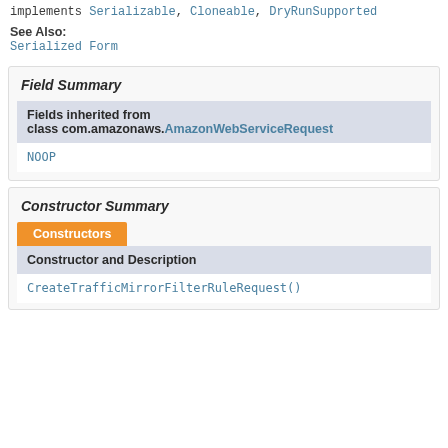implements Serializable, Cloneable, DryRunSupported
See Also: Serialized Form
Field Summary
| Fields inherited from class com.amazonaws.AmazonWebServiceRequest |
| --- |
| NOOP |
Constructor Summary
| Constructor and Description |
| --- |
| CreateTrafficMirrorFilterRuleRequest() |